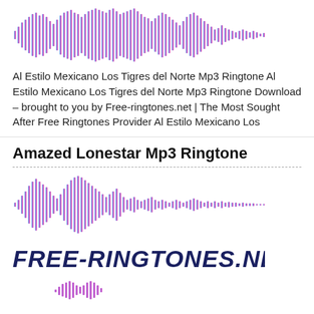[Figure (other): Audio waveform visualization with cyan, purple, and pink gradient bars representing a music ringtone]
Al Estilo Mexicano Los Tigres del Norte Mp3 Ringtone Al Estilo Mexicano Los Tigres del Norte Mp3 Ringtone Download – brought to you by Free-ringtones.net | The Most Sought After Free Ringtones Provider Al Estilo Mexicano Los
Amazed Lonestar Mp3 Ringtone
[Figure (other): Audio waveform visualization with cyan, purple, and pink gradient bars representing a music ringtone]
[Figure (logo): FREE-RINGTONES.NET logo in dark blue bold italic uppercase text]
[Figure (other): Partial audio waveform at bottom of page]